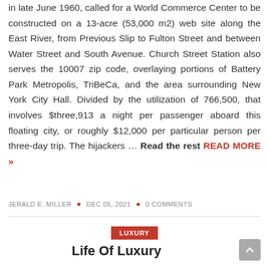in late June 1960, called for a World Commerce Center to be constructed on a 13-acre (53,000 m2) web site along the East River, from Previous Slip to Fulton Street and between Water Street and South Avenue. Church Street Station also serves the 10007 zip code, overlaying portions of Battery Park Metropolis, TriBeCa, and the area surrounding New York City Hall. Divided by the utilization of 766,500, that involves $three,913 a night per passenger aboard this floating city, or roughly $12,000 per particular person per three-day trip. The hijackers … Read the rest READ MORE »
JERALD E. MILLER • DEC 05, 2021 • 0 COMMENTS
LUXURY
Life Of Luxury